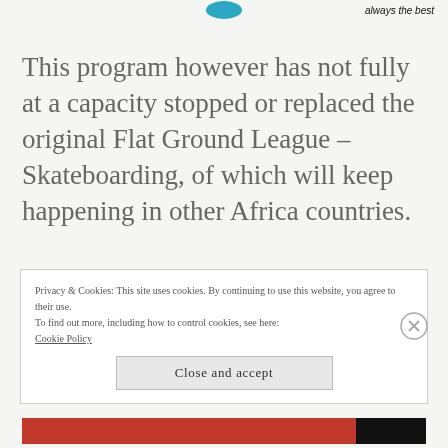[Figure (logo): Partial logo visible at top center, teal/blue color]
always the best
This program however has not fully at a capacity stopped or replaced the original Flat Ground League – Skateboarding, of which will keep happening in other Africa countries.
Privacy & Cookies: This site uses cookies. By continuing to use this website, you agree to their use.
To find out more, including how to control cookies, see here:
Cookie Policy
Close and accept